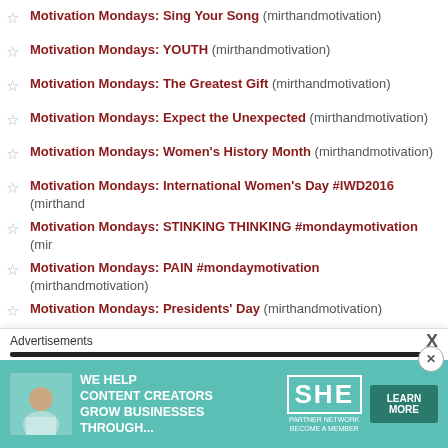Motivation Mondays: Sing Your Song (mirthandmotivation)
Motivation Mondays: YOUTH (mirthandmotivation)
Motivation Mondays: The Greatest Gift (mirthandmotivation)
Motivation Mondays: Expect the Unexpected (mirthandmotivation)
Motivation Mondays: Women's History Month (mirthandmotivation)
Motivation Mondays: International Women's Day #IWD2016 (mirthandmotivation)
Motivation Mondays: STINKING THINKING #mondaymotivation (mirthandmotivation)
Motivation Mondays: PAIN #mondaymotivation (mirthandmotivation)
Motivation Mondays: Presidents' Day (mirthandmotivation)
Motivation Mondays: Chinese New Year (mirthandmotivation)
Motivation Mondays: Valentine's Day Tips (mirthandmotivation)
Motivation Mondays: OPPOSITES (mirthandmotivation)
Motivation Mondays: I Have A Dream #MLKDay (mirthandmotivation)
Motivation Mondays: POSSESSIONS #mondaymotivation (mirthandmotivation)
[Figure (infographic): SHE Partner Network advertisement banner with 'We Help Content Creators Grow Businesses Through...' text and a Learn More button]